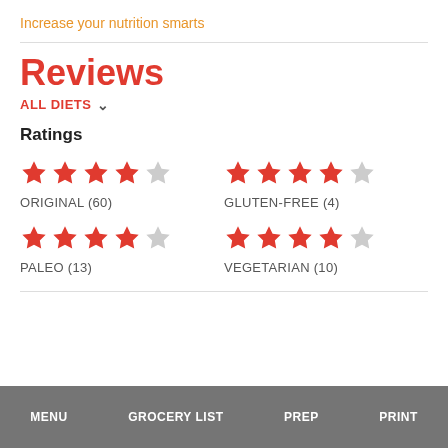Increase your nutrition smarts
Reviews
ALL DIETS ∨
Ratings
★★★★☆ ORIGINAL (60)
★★★★☆ GLUTEN-FREE (4)
★★★★☆ PALEO (13)
★★★★☆ VEGETARIAN (10)
MENU   GROCERY LIST   PREP   PRINT